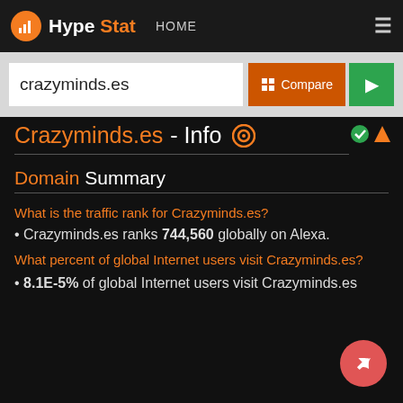HypeStat HOME
crazyminds.es
Crazyminds.es - Info
Domain Summary
What is the traffic rank for Crazyminds.es?
Crazyminds.es ranks 744,560 globally on Alexa.
What percent of global Internet users visit Crazyminds.es?
8.1E-5% of global Internet users visit Crazyminds.es